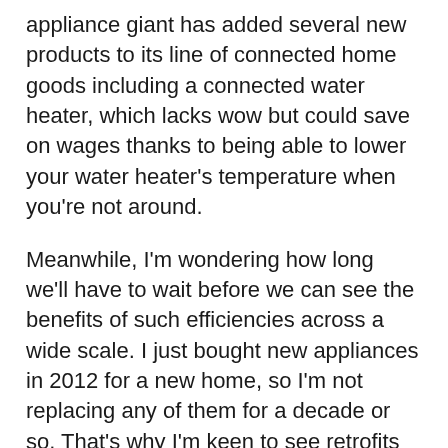appliance giant has added several new products to its line of connected home goods including a connected water heater, which lacks wow but could save on wages thanks to being able to lower your water heater's temperature when you're not around.
Meanwhile, I'm wondering how long we'll have to wait before we can see the benefits of such efficiencies across a wide scale. I just bought new appliances in 2012 for a new home, so I'm not replacing any of them for a decade or so. That's why I'm keen to see retrofits that might help make my ovens, washers and dryers a bit smarter.
Currently GE offers a line of connected wall ovens that lets you start pre-heating an oven when you're on your drive home, for example. It's now adding several other connected appliances such as a french door-style